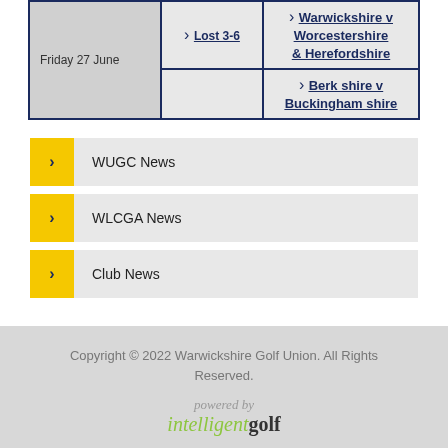| Date | Result | Match |
| --- | --- | --- |
| Friday 27 June | Lost 3-6 | Warwickshire v Worcestershire & Herefordshire |
|  |  | Berkshire v Buckinghamshire |
WUGC News
WLCGA News
Club News
Copyright © 2022 Warwickshire Golf Union. All Rights Reserved. powered by intelligentgolf